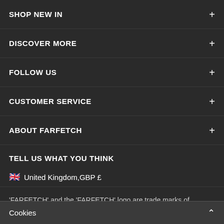SHOP NEW IN
DISCOVER MORE
FOLLOW US
CUSTOMER SERVICE
ABOUT FARFETCH
TELL US WHAT YOU THINK
🇬🇧 United Kingdom,GBP £
'FARFETCH' and the 'FARFETCH' logo are trade marks of FARFETCH UK Limited and are registered in numerous jurisdictions
Cookies